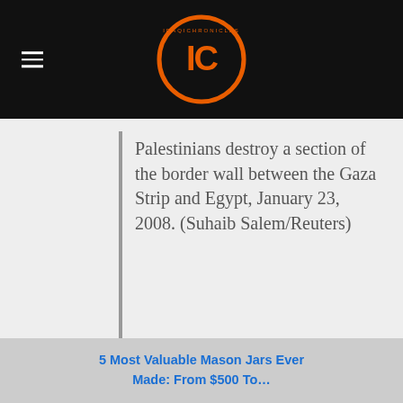IC (logo)
Palestinians destroy a section of the border wall between the Gaza Strip and Egypt, January 23, 2008. (Suhaib Salem/Reuters)
Lucky they didn't boycott Caterpillar.
8:55PM: From the Department of Delusions:
“I do not regret the decisive decisions I made as prime minister – not those pertaining to the fighting in Lebanon and not
5 Most Valuable Mason Jars Ever Made: From $500 To…